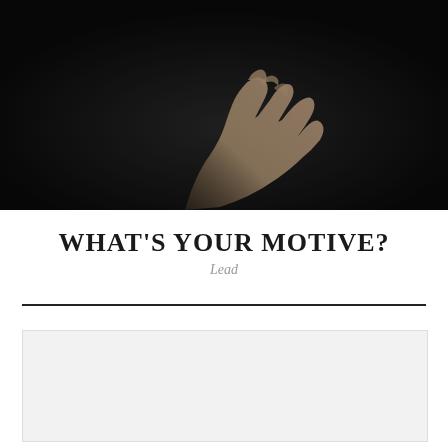[Figure (photo): Dark moody photograph of a hand reaching upward against a near-black background, with subtle warm lighting on the arm and fingers]
WHAT'S YOUR MOTIVE?
Lead
[Figure (other): Content box area with an orange rectangle tab and light gray background box below the divider line]